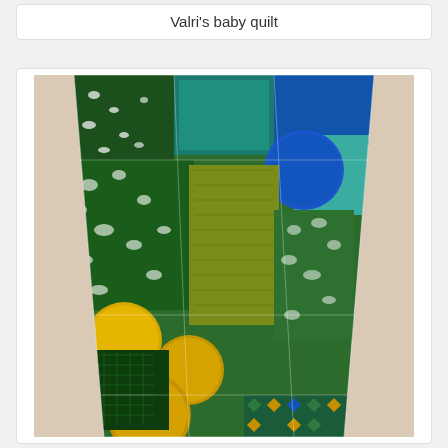Valri's baby quilt
[Figure (photo): A colorful patchwork baby quilt draped/hanging, featuring green, yellow/gold, blue, and teal batik fabrics with circular appliqué or polka dot patterns. The quilt has various patterned fabric patches including spotted, striped, and geometric designs in green, blue, yellow, and teal tones against a light wood or wall background.]